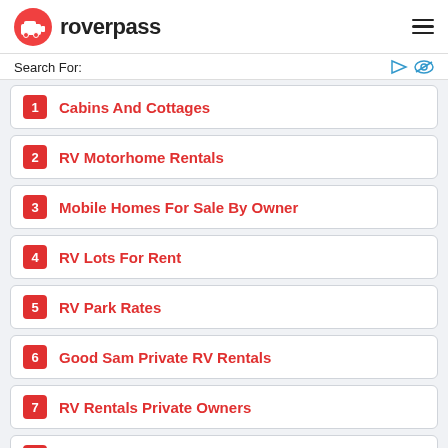roverpass
Search For:
1 Cabins And Cottages
2 RV Motorhome Rentals
3 Mobile Homes For Sale By Owner
4 RV Lots For Rent
5 RV Park Rates
6 Good Sam Private RV Rentals
7 RV Rentals Private Owners
8 RV Lot For Sale By Owner